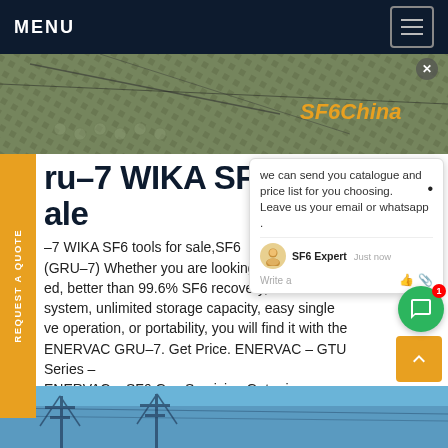MENU
[Figure (photo): Hero image showing overhead electrical infrastructure with SF6China text overlay]
ru-7 WIKA SF6 to ale
we can send you catalogue and price list for you choosing. Leave us your email or whatsapp .
-7 WIKA SF6 tools for sale,SF6 Unit (GRU-7) Whether you are looking for processing, better than 99.6% SF6 recovery, a 100% oil-system, unlimited storage capacity, easy single ve operation, or portability, you will find it with the ENERVAC GRU-7. Get Price. ENERVAC – GTU Series – ENERVAC – SF6 Gas Servicing.Get price
[Figure (photo): Bottom photo showing electrical transmission tower infrastructure against blue sky]